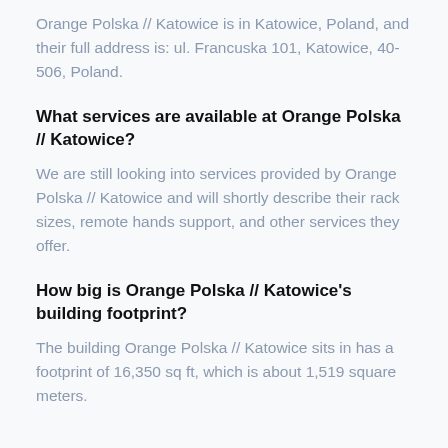Orange Polska // Katowice is in Katowice, Poland, and their full address is: ul. Francuska 101, Katowice, 40-506, Poland.
What services are available at Orange Polska // Katowice?
We are still looking into services provided by Orange Polska // Katowice and will shortly describe their rack sizes, remote hands support, and other services they offer.
How big is Orange Polska // Katowice's building footprint?
The building Orange Polska // Katowice sits in has a footprint of 16,350 sq ft, which is about 1,519 square meters.